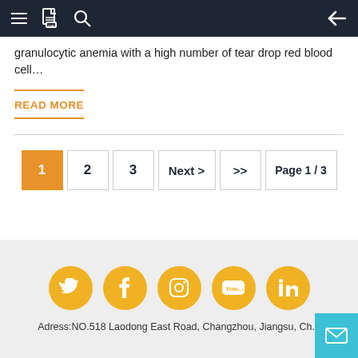Navigation bar with menu, document, search icons and back arrow
granulocytic anemia with a high number of tear drop red blood cell…
READ MORE
Pagination: 1 (active), 2, 3, Next >, >>, Page 1 / 3
Social icons: Twitter, Facebook, Instagram, YouTube, LinkedIn. Adress:NO.518 Laodong East Road, Changzhou, Jiangsu, Ch...